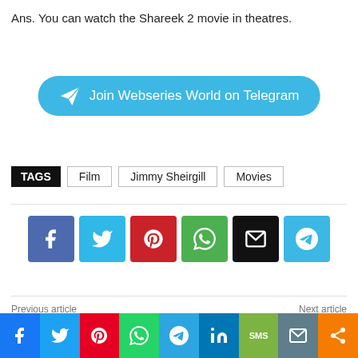Ans. You can watch the Shareek 2 movie in theatres.
[Figure (other): Blue rounded button with Telegram paper-plane icon and text 'Join Webseries World on Telegram']
TAGS  Film  Jimmy Sheirgill  Movies
[Figure (other): Social share icon buttons: Facebook, Twitter, Pinterest, WhatsApp, Email, Telegram]
Previous article
Next article
Watch Online Chhupi Nazar Web Series On Kooku App, Cast, Actress, Release Date
Brahmastra Movie Cast, Release Date, Story, Trailer & More
[Figure (other): Bottom social share bar with Facebook, Twitter, Pinterest, WhatsApp, Telegram, LinkedIn, SMS, Email, Share icons]